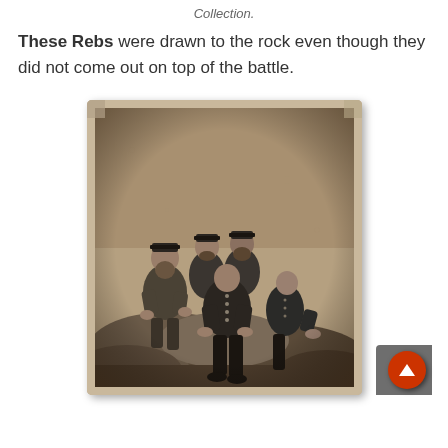Collection.
These Rebs were drawn to the rock even though they did not come out on top of the battle.
[Figure (photo): Sepia-toned historical photograph of five Civil War era soldiers sitting on large rocks, wearing military caps and uniforms with buttons. The photo has a vintage carte de visite style with aged, yellowed borders.]